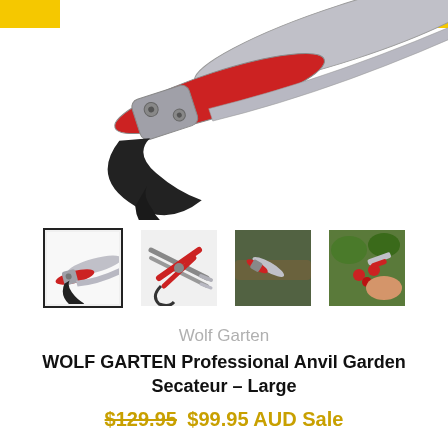[Figure (photo): Main product image of Wolf Garten Professional Anvil Garden Secateur against white background with yellow accent bars in top corners. Secateur is silver/grey with red grip and black wrist strap.]
[Figure (photo): Four product thumbnail images: first selected (bordered) showing front view of secateur; second showing open secateur from above; third showing secateur in use on tree branch; fourth showing hand using secateur on red berries.]
Wolf Garten
WOLF GARTEN Professional Anvil Garden Secateur – Large
$129.95  $99.95 AUD Sale